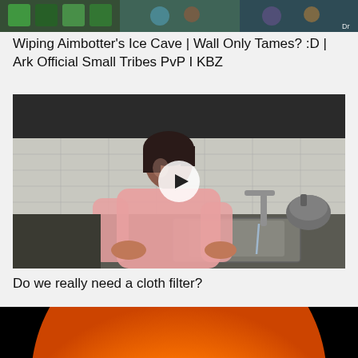[Figure (screenshot): Top cropped thumbnail image of a video game scene (Ark survival) with colorful items]
Wiping Aimbotter's Ice Cave | Wall Only Tames? :D | Ark Official Small Tribes PvP I KBZ
[Figure (photo): Woman in pink sweater washing hands at a kitchen sink with a kettle on the counter and a play button overlay]
Do we really need a cloth filter?
[Figure (photo): Bottom image showing a large orange/yellow glowing sphere (possibly planet or star) against a black background]